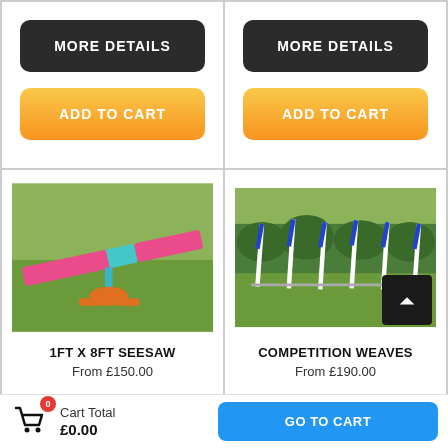[Figure (screenshot): Top-left card with MORE DETAILS dark button and ADD TO CART orange gradient button]
[Figure (screenshot): Top-right card with MORE DETAILS dark button and ADD TO CART orange gradient button]
[Figure (photo): Photo of a pink and teal seesaw on grass]
1FT X 8FT SEESAW
From £150.00
[Figure (photo): Photo of competition weave poles on grass]
COMPETITION WEAVES
From £190.00
Cart Total
£0.00